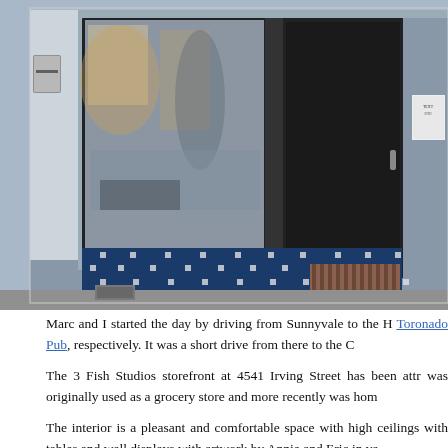[Figure (photo): Exterior storefront of 3 Fish Studios at 4541 Irving Street, showing large plate glass windows, a black entrance door, blue decorative tile wainscoting with white accent tiles, a striped doormat, a wall-mounted mailbox, and partial reflection of street scene in the windows.]
Marc and I started the day by driving from Sunnyvale to the H Toronado Pub, respectively. It was a short drive from there to the C
The 3 Fish Studios storefront at 4541 Irving Street has been attr was originally used as a grocery store and more recently was hom
The interior is a pleasant and comfortable space with high ceilings with tables and wall displays with artwork by Annie and Eric in va